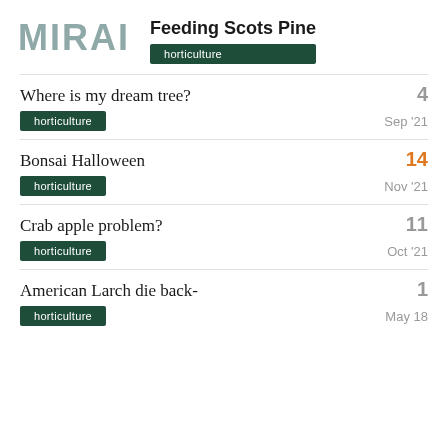MIRAI — Feeding Scots Pine — horticulture
Where is my dream tree? — 4 — horticulture — Sep '21
Bonsai Halloween — 14 — horticulture — Nov '21
Crab apple problem? — 11 — horticulture — Oct '21
American Larch die back- — 1 — horticulture — May 18